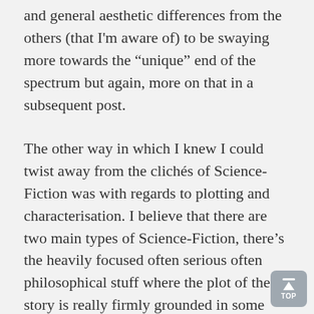and general aesthetic differences from the others (that I'm aware of) to be swaying more towards the “unique” end of the spectrum but again, more on that in a subsequent post.
The other way in which I knew I could twist away from the clichés of Science-Fiction was with regards to plotting and characterisation. I believe that there are two main types of Science-Fiction, there’s the heavily focused often serious often philosophical stuff where the plot of the story is really firmly grounded in some kind of technology or other presence unique to that particular vision of the future (note that this doesn’t necessarily have to be “hard sci